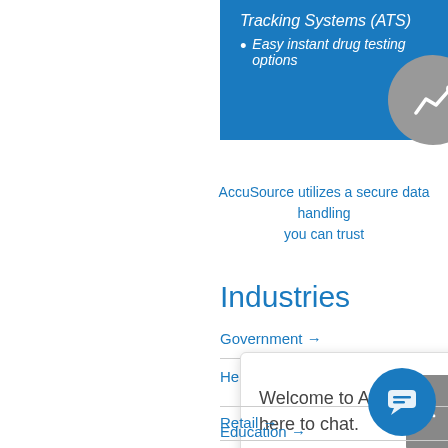Tracking Systems (ATS)
• Easy instant drug testing options
AccuSource utilizes a secure data handling you can trust
Industries
Government →
Healthcare →
Welcome to AccuSource! Click here to chat.
Retail →
Education →